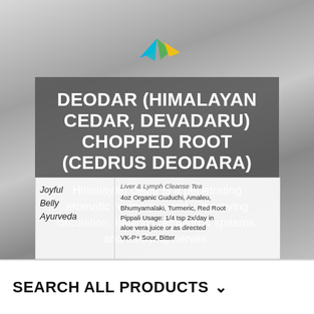[Figure (photo): Photo of a silver foil bag product with a white label showing 'Joyful Belly Ayurveda' branding and ingredient/usage text. A colorful logo appears on the label. The bag background is metallic silver.]
DEODAR (HIMALAYAN CEDAR, DEVADARU) CHOPPED ROOT (CEDRUS DEODARA)
Himalayan cedar is a penetrating aromatic resinous wood - improving circulation, easing cramping & spasms, and tonifying nerves.
SEARCH ALL PRODUCTS ✓